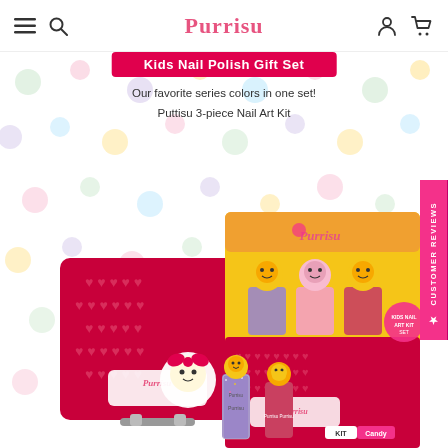Puttisu
Kids Nail Polish Gift Set
Our favorite series colors in one set!
Puttisu 3-piece Nail Art Kit
[Figure (photo): Product photo showing Puttisu Kids Nail Polish Gift Set including a red heart-patterned tin box, three nail polish bottles with cute character toppers inside a yellow box packaging, and additional loose nail polish bottles in front with Puttisu branding.]
★ CUSTOMER REVIEWS